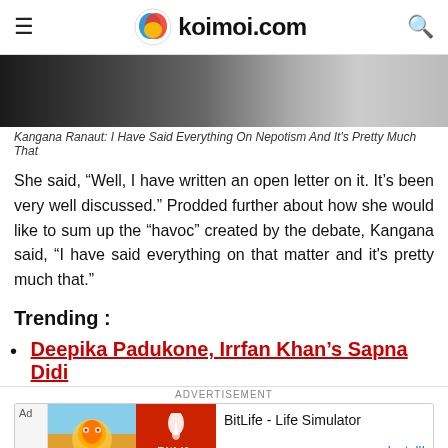koimoi.com
[Figure (photo): Photo strip showing people at an event, partially cropped]
Kangana Ranaut: I Have Said Everything On Nepotism And It's Pretty Much That
She said, “Well, I have written an open letter on it. It’s been very well discussed.” Prodded further about how she would like to sum up the “havoc” created by the debate, Kangana said, “I have said everything on that matter and it's pretty much that.”
Trending :
Deepika Padukone, Irrfan Khan’s Sapna Didi
[Figure (screenshot): Advertisement banner for BitLife - Life Simulator app with Install button]